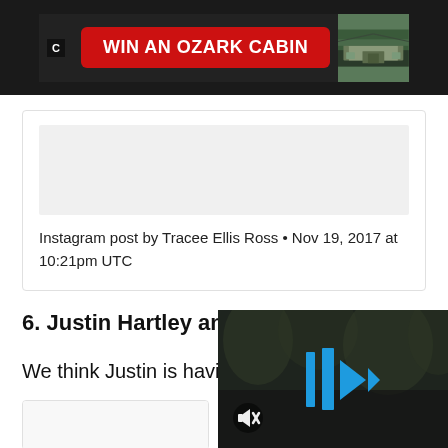[Figure (photo): Advertisement banner: WIN AN OZARK CABIN button on dark background with cabin photo on right]
[Figure (screenshot): Instagram embed placeholder with light gray box above caption]
Instagram post by Tracee Ellis Ross • Nov 19, 2017 at 10:21pm UTC
6. Justin Hartley and Kathryn Hahn
We think Justin is having fun.
[Figure (screenshot): Partial Instagram embed card on left side]
[Figure (screenshot): Video player overlay on dark background with blue play/forward icons and mute icon]